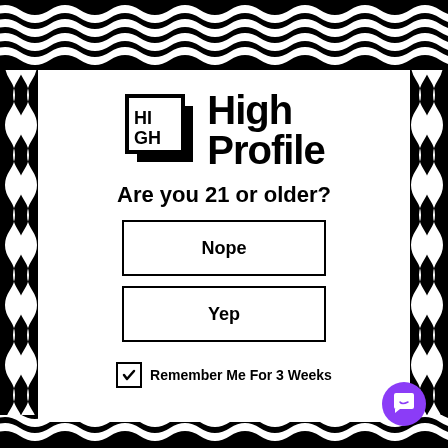[Figure (logo): High Profile cannabis dispensary logo: square icon with HI GH letters and the text 'High Profile' in bold black]
Are you 21 or older?
Nope
Yep
Remember Me For 3 Weeks